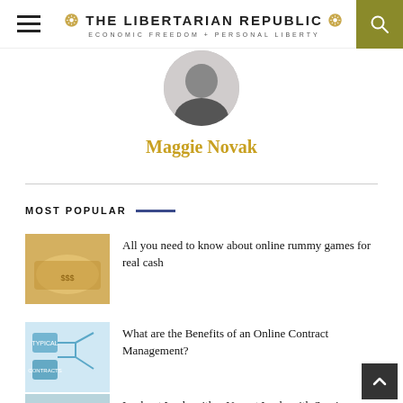THE LIBERTARIAN REPUBLIC — ECONOMIC FREEDOM + PERSONAL LIBERTY
[Figure (photo): Circular cropped black and white portrait photo of Maggie Novak]
Maggie Novak
MOST POPULAR
[Figure (photo): Thumbnail image of fanned out colorful banknotes and money]
All you need to know about online rummy games for real cash
[Figure (photo): Thumbnail image of online contract management diagram with arrows]
What are the Benefits of an Online Contract Management?
[Figure (photo): Thumbnail image of a locksmith door lock mechanism]
Lockout Locksmith – Urgent Locksmith Services